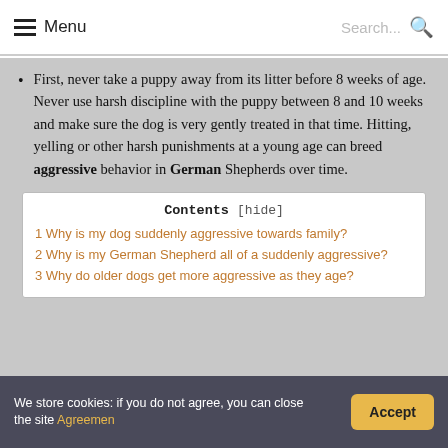Menu  Search...
First, never take a puppy away from its litter before 8 weeks of age. Never use harsh discipline with the puppy between 8 and 10 weeks and make sure the dog is very gently treated in that time. Hitting, yelling or other harsh punishments at a young age can breed aggressive behavior in German Shepherds over time.
Contents [hide]
1 Why is my dog suddenly aggressive towards family?
2 Why is my German Shepherd all of a suddenly aggressive?
3 Why do older dogs get more aggressive as they age?
We store cookies: if you do not agree, you can close the site Agreement